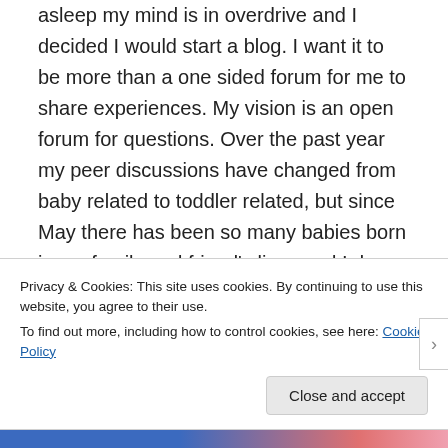asleep my mind is in overdrive and I decided I would start a blog. I want it to be more than a one sided forum for me to share experiences. My vision is an open forum for questions. Over the past year my peer discussions have changed from baby related to toddler related, but since May there has been so many babies born in my family and friend's lives and I do feel back in baby mode questions this summer. I think back to many summer nights texting very late about pumping schedules,
Privacy & Cookies: This site uses cookies. By continuing to use this website, you agree to their use.
To find out more, including how to control cookies, see here: Cookie Policy